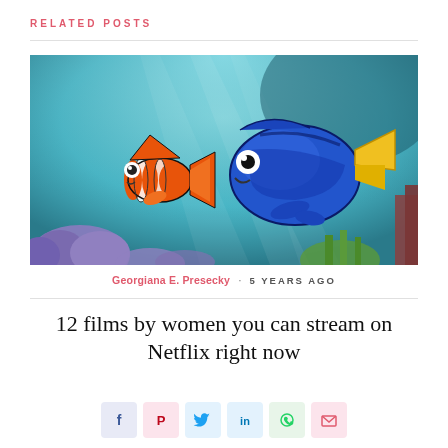RELATED POSTS
[Figure (photo): Animated scene from Finding Dory/Finding Nemo showing a clownfish (Nemo) and a blue tang fish (Dory) facing each other underwater with coral in the background.]
Georgiana E. Presecky · 5 YEARS AGO
12 films by women you can stream on Netflix right now
[Figure (infographic): Social sharing icons: Facebook, Pinterest, Twitter, LinkedIn, WhatsApp, Email]